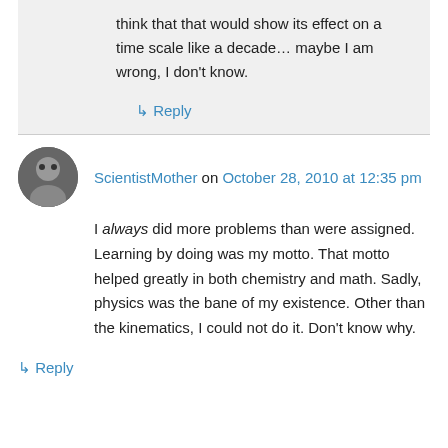think that that would show its effect on a time scale like a decade… maybe I am wrong, I don't know.
↳ Reply
ScientistMother on October 28, 2010 at 12:35 pm
I always did more problems than were assigned. Learning by doing was my motto. That motto helped greatly in both chemistry and math. Sadly, physics was the bane of my existence. Other than the kinematics, I could not do it. Don't know why.
↳ Reply